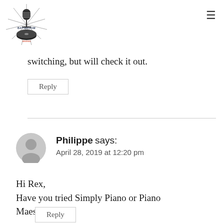Bathroom Singing (logo)
switching, but will check it out.
Reply
Philippe says:
April 28, 2019 at 12:20 pm
Hi Rex,
Have you tried Simply Piano or Piano Maestro?
Reply